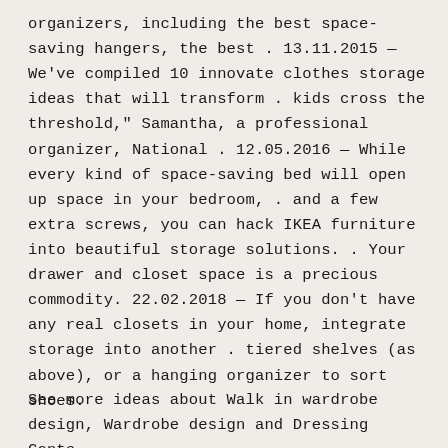organizers, including the best space-saving hangers, the best . 13.11.2015 — We've compiled 10 innovate clothes storage ideas that will transform . kids cross the threshold," Samantha, a professional organizer, National . 12.05.2016 — While every kind of space-saving bed will open up space in your bedroom, . and a few extra screws, you can hack IKEA furniture into beautiful storage solutions. . Your drawer and closet space is a precious commodity. 22.02.2018 — If you don't have any real closets in your home, integrate storage into another . tiered shelves (as above), or a hanging organizer to sort shoes.
See more ideas about Walk in wardrobe design, Wardrobe design and Dressing Conte...